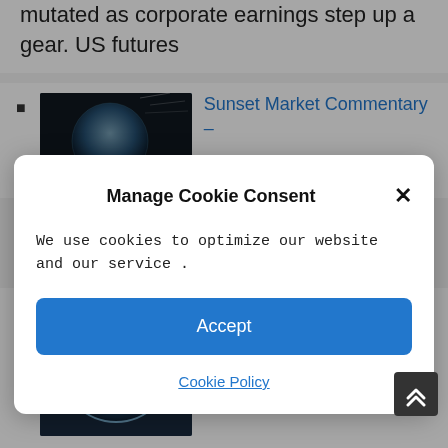mutated as corporate earnings step up a gear. US futures
Sunset Market Commentary –
Manage Cookie Consent
We use cookies to optimize our website and our service .
Accept
Cookie Policy
IMF slashes 2022 growth outlook amid Ukraine war, China